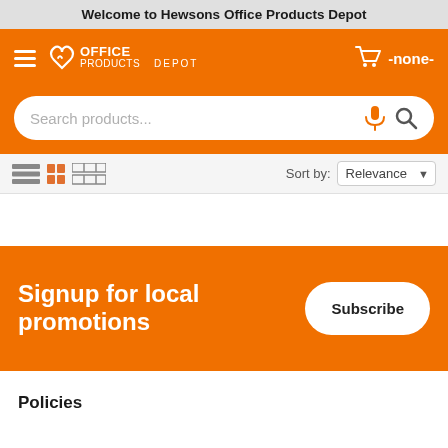Welcome to Hewsons Office Products Depot
[Figure (screenshot): Orange navigation bar with hamburger menu icon, Office Products Depot logo, and cart icon with '-none-' text]
[Figure (screenshot): Search bar with placeholder 'Search products...' with microphone and magnifier icons on orange background]
[Figure (screenshot): Toolbar row with list/grid view icons on left and Sort by Relevance dropdown on right]
Signup for local promotions
Subscribe
Policies